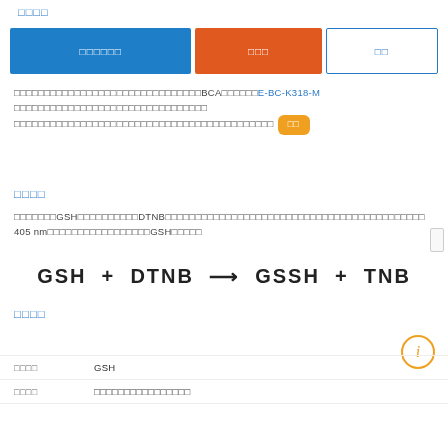□□□□
□□□□□□ □□□ □□
□□□□□□□□□□□□□□□□□□□□□□□□□□□□□□□BCA□□□□□□E-BC-K318-M □□□□□□□□□□□□□□□□□□□□□□□□□□□□ □□□□□□□□□□□□□□□□□□□□□□□□□□□□□□□□□□□□□□□□□□ □□
□□□□
□□□□□□□GSH□□□□□□□□□□DTNB□□□□□□□□□□□□□□□□□□□□□□□□□□□□□□□□□□□□□□□□□□□ 405 nm□□□□□□□□□□□□□□□□□GSH□□□□□
□□□□
| □□□□ | □□□□ |
| --- | --- |
| □□□□ | GSH |
| □□□□ | □□□□□□□□□□□□□□□□ |